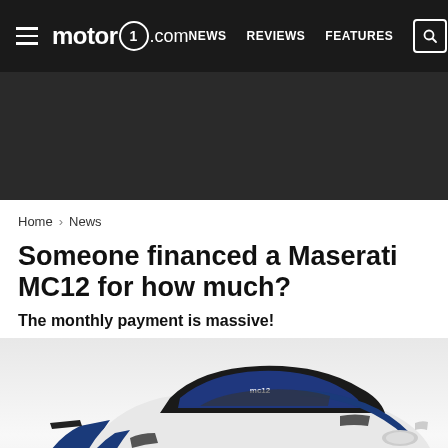motor1.com — NEWS  REVIEWS  FEATURES
[Figure (other): Dark advertisement banner placeholder]
Home > News
Someone financed a Maserati MC12 for how much?
The monthly payment is massive!
[Figure (photo): White and blue Maserati MC12 supercar photographed from a front three-quarter angle on a white background]